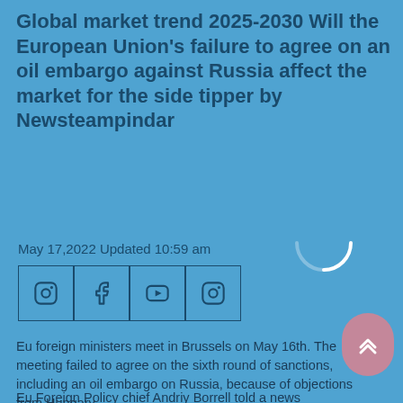Global market trend 2025-2030 Will the European Union's failure to agree on an oil embargo against Russia affect the market for the side tipper by Newsteampindar
May 17,2022 Updated 10:59 am
[Figure (other): Social media icon buttons: Instagram, Facebook, YouTube, Instagram in a row of bordered boxes]
[Figure (other): Loading spinner arc (white arc on blue background)]
Eu foreign ministers meet in Brussels on May 16th. The meeting failed to agree on the sixth round of sanctions, including an oil embargo on Russia, because of objections from Hungary.
Eu Foreign Policy chief Andriy Borrell told a news